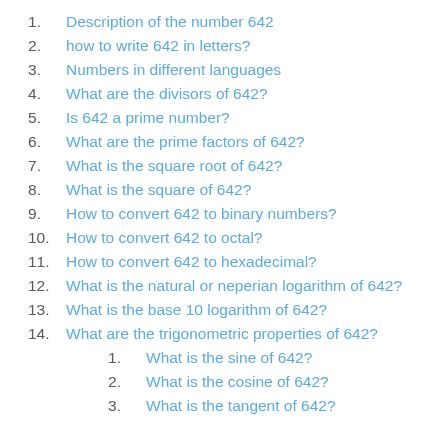1. Description of the number 642
2. how to write 642 in letters?
3. Numbers in different languages
4. What are the divisors of 642?
5. Is 642 a prime number?
6. What are the prime factors of 642?
7. What is the square root of 642?
8. What is the square of 642?
9. How to convert 642 to binary numbers?
10. How to convert 642 to octal?
11. How to convert 642 to hexadecimal?
12. What is the natural or neperian logarithm of 642?
13. What is the base 10 logarithm of 642?
14. What are the trigonometric properties of 642?
1. What is the sine of 642?
2. What is the cosine of 642?
3. What is the tangent of 642?